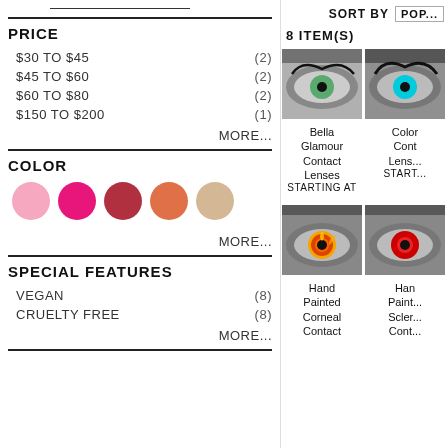PRICE
$30 TO $45 (2)
$45 TO $60 (2)
$60 TO $80 (2)
$150 TO $200 (1)
MORE...
COLOR
[Figure (illustration): Five color swatches: light pink, hot pink, dark red, orange, beige]
MORE...
SPECIAL FEATURES
VEGAN (8)
CRUELTY FREE (8)
MORE...
SORT BY POP...
8 ITEM(S)
[Figure (photo): Close-up of a grey-toned eye with green iris]
[Figure (photo): Close-up of a grey-toned eye with cyan iris]
Bella Glamour Contact Lenses STARTING AT
Color Contact Lenses START...
[Figure (photo): Close-up eye with orange/yellow and black iris]
[Figure (photo): Close-up eye with red iris]
Hand Painted Corneal Contact
Hand Painted Scleral Cont...